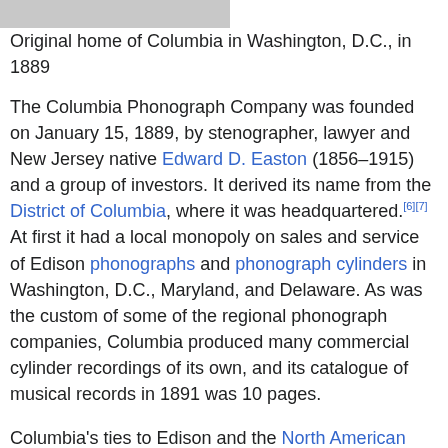[Figure (photo): Partial view of a photograph, likely showing the original home of Columbia in Washington, D.C., in 1889]
Original home of Columbia in Washington, D.C., in 1889
The Columbia Phonograph Company was founded on January 15, 1889, by stenographer, lawyer and New Jersey native Edward D. Easton (1856–1915) and a group of investors. It derived its name from the District of Columbia, where it was headquartered.[6][7] At first it had a local monopoly on sales and service of Edison phonographs and phonograph cylinders in Washington, D.C., Maryland, and Delaware. As was the custom of some of the regional phonograph companies, Columbia produced many commercial cylinder recordings of its own, and its catalogue of musical records in 1891 was 10 pages.
Columbia's ties to Edison and the North American Phonograph Company were severed in 1894 with the North American Phonograph Company's breakup. Thereafter it sold only records and phonographs of its own manufacture. In 1902, Columbia introduced the "XP" record, a molded brown wax record, to use up old stock. Columbia introduced black wax